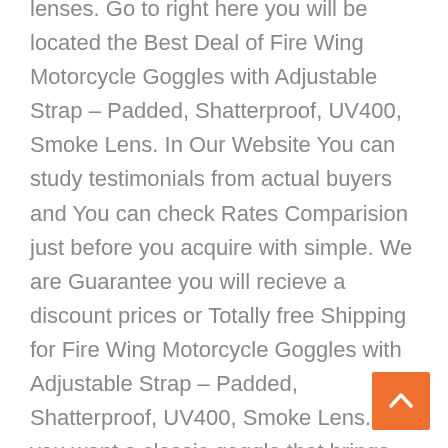lenses. Go to right here you will be located the Best Deal of Fire Wing Motorcycle Goggles with Adjustable Strap – Padded, Shatterproof, UV400, Smoke Lens. In Our Website You can study testimonials from actual buyers and You can check Rates Comparision just before you acquire with simple. We are Guarantee you will recieve a discount prices or Totally free Shipping for Fire Wing Motorcycle Goggles with Adjustable Strap – Padded, Shatterproof, UV400, Smoke Lens. If you want a classic goggle that brings back the nostalgia of the 1960s, then this is the ideal selection for you. This interchangeable goggle features three simple to adjust polycarbonate lenses that allow for total convenience, irrespective of the time of usage. It attributes a